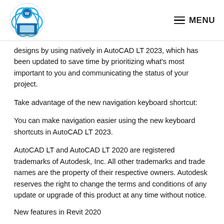MENU
designs by using natively in AutoCAD LT 2023, which has been updated to save time by prioritizing what's most important to you and communicating the status of your project.
Take advantage of the new navigation keyboard shortcut:
You can make navigation easier using the new keyboard shortcuts in AutoCAD LT 2023.
AutoCAD LT and AutoCAD LT 2020 are registered trademarks of Autodesk, Inc. All other trademarks and trade names are the property of their respective owners. Autodesk reserves the right to change the terms and conditions of any update or upgrade of this product at any time without notice.
New features in Revit 2020
Multi-Level Modeling: